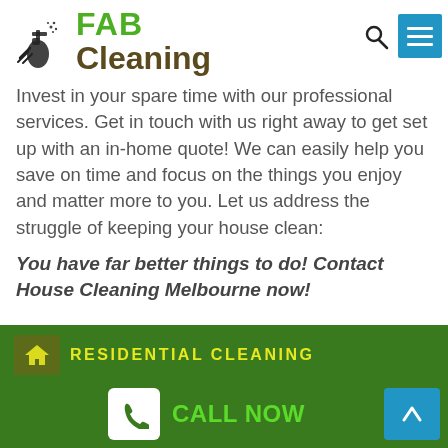[Figure (logo): FAB Cleaning logo with cleaning supplies icon, green FAB text and brown Cleaning text]
Invest in your spare time with our professional services. Get in touch with us right away to get set up with an in-home quote! We can easily help you save on time and focus on the things you enjoy and matter more to you. Let us address the struggle of keeping your house clean:
You have far better things to do! Contact House Cleaning Melbourne now!
RESIDENTIAL CLEANING
CALL NOW